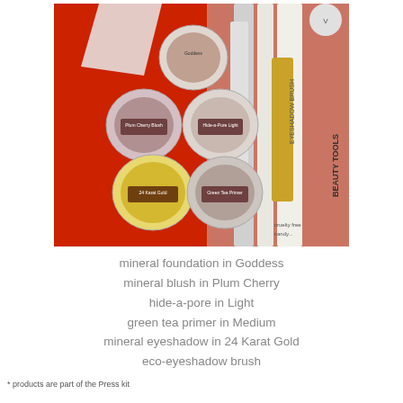[Figure (photo): Photo of mineral makeup products on a red background: several small circular containers of mineral foundation, blush, hide-a-pore, green tea primer, and mineral eyeshadow in 24 Karat Gold, plus an eco-eyeshadow brush and other beauty tools.]
mineral foundation in Goddess
mineral blush in Plum Cherry
hide-a-pore in Light
green tea primer in Medium
mineral eyeshadow in 24 Karat Gold
eco-eyeshadow brush
* products are part of the Press kit